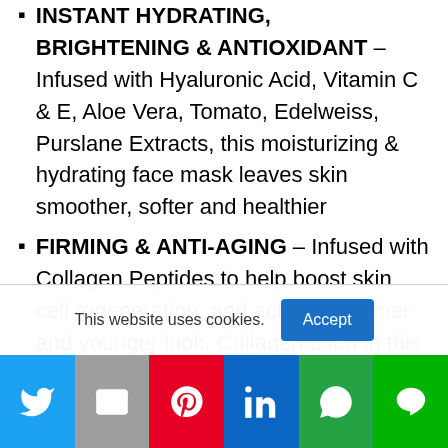INSTANT HYDRATING, BRIGHTENING & ANTIOXIDANT – Infused with Hyaluronic Acid, Vitamin C & E, Aloe Vera, Tomato, Edelweiss, Purslane Extracts, this moisturizing & hydrating face mask leaves skin smoother, softer and healthier
FIRMING & ANTI-AGING – Infused with Collagen Peptides to help boost skin cell regeneration, and achieve a firmer and younger look. Collagen used in this facial mask is extracted from seaweed
SOOTHING & ANTI-INFLAMMATORY – Infused